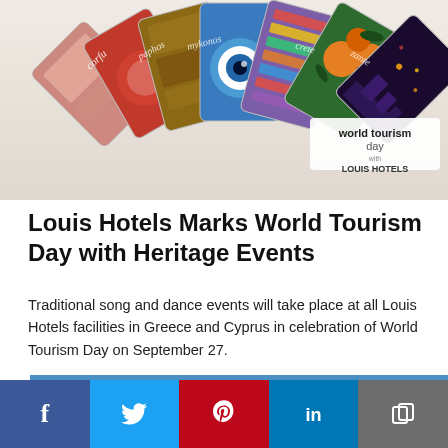[Figure (illustration): Promotional collage image for World Tourism Day with Louis Hotels branding. Shows fanned-out cards with travel-related imagery (Turkish delight, evil eye, oranges, Santorini night scene, fabric patterns). Text overlay reads 'world tourism day with LOUIS HOTELS'.]
Louis Hotels Marks World Tourism Day with Heritage Events
Traditional song and dance events will take place at all Louis Hotels facilities in Greece and Cyprus in celebration of World Tourism Day on September 27.
Posted On 26 Sep 2018, By GTP editing team